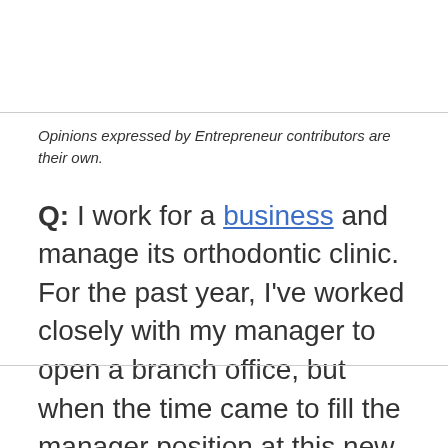Opinions expressed by Entrepreneur contributors are their own.
Q: I work for a business and manage its orthodontic clinic. For the past year, I've worked closely with my manager to open a branch office, but when the time came to fill the manager position at this new office, I was passed over for someone with less experience and education. This person even